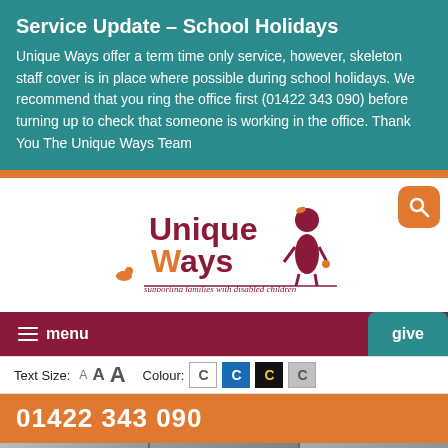Service Update - School Holidays
Unique Ways offer a term time only service, however, skeleton staff cover is in place where possible during school holidays. We recommend that you ring the office first (01422 343 090) before turning up to check that someone is working in the office. Thank You The Unique Ways Team
[Figure (logo): Unique Ways logo — colourful text reading 'Unique Ways' with a cartoon child character and ducks, tagline: supporting families with disabled children]
menu
give
Text Size: A A A   Colour: C C C C
01422 343 090
[Figure (photo): Photo strip showing children]
Back to top ↑